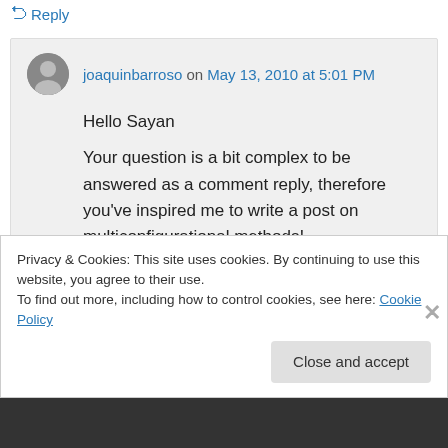↤ Reply
joaquinbarroso on May 13, 2010 at 5:01 PM
Hello Sayan

Your question is a bit complex to be answered as a comment reply, therefore you've inspired me to write a post on multiconfigurational methods!
I will try, however, to answer quickly to your
Privacy & Cookies: This site uses cookies. By continuing to use this website, you agree to their use.
To find out more, including how to control cookies, see here: Cookie Policy
Close and accept